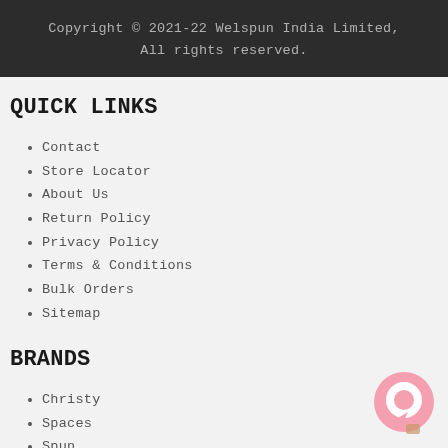Copyright © 2021-22 Welspun India Limited, All rights reserved.
QUICK LINKS
Contact
Store Locator
About Us
Return Policy
Privacy Policy
Terms & Conditions
Bulk Orders
Sitemap
BRANDS
Christy
Spaces
Spun
[Figure (illustration): Pink chat bubble icon in bottom right corner]